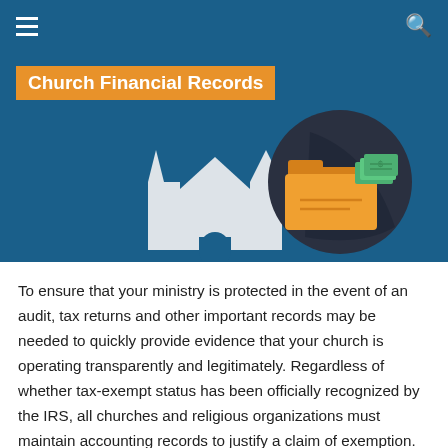≡   Q
[Figure (illustration): Hero banner with dark blue background showing a white church/cathedral building silhouette on the left and a dark circular icon on the right containing an orange folder with green dollar bills sticking out. Orange label badge reads 'Church Financial Records'.]
Church Financial Records
To ensure that your ministry is protected in the event of an audit, tax returns and other important records may be needed to quickly provide evidence that your church is operating transparently and legitimately. Regardless of whether tax-exempt status has been officially recognized by the IRS, all churches and religious organizations must maintain accounting records to justify a claim of exemption.